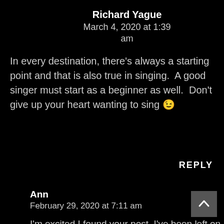Richard Yague
March 4, 2020 at 1:39 am
In every destination, there’s always a starting point and that is also true in singing.  A good singer must start as a beginner as well.  Don’t give up your heart wanting to sing 😉
REPLY
Ann
February 29, 2020 at 7:11 am
I’m excited I found your post. I’ve been left on my own concerning singing and I haven’t progressed much, that’s for sure. I know I need